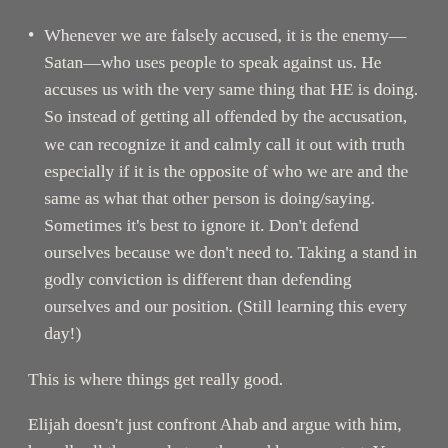Whenever we are falsely accused, it is the enemy—Satan—who uses people to speak against us. He accuses us with the very same thing that HE is doing. So instead of getting all offended by the accusation, we can recognize it and calmly call it out with truth especially if it is the opposite of who we are and the same as what that other person is doing/saying. Sometimes it's best to ignore it. Don't defend ourselves because we don't need to. Taking a stand in godly conviction is different than defending ourselves and our position. (Still learning this every day!)
This is where things get really good.
Elijah doesn't just confront Ahab and argue with him, he calls all the people together and has a contest. Yep. Right then and there he tells them to make an altar and put